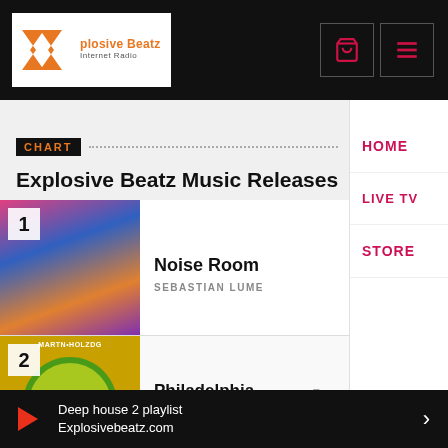[Figure (logo): Explosive Beatz Internet Radio logo with orange arrow shapes and black/white styling]
CHART
Explosive Beatz Music Releases
1 Noise Room — SEBASTIAN LUME
2 Philadelphia (SoundCloud) — LESTER POT
HOME
LIVE TV
STORE
Deep house 2 playlist
Explosivebeatz.com